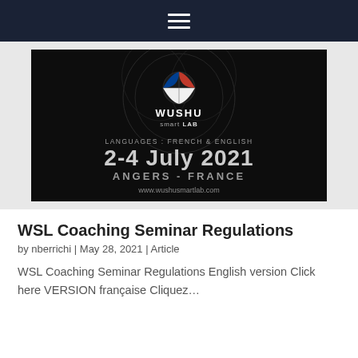Navigation bar with hamburger menu
[Figure (illustration): Wushu Smart Lab event banner: dark background with decorative martial arts motif, WSL logo with French flag-colored ball icon, text reading 'LANGUAGES : FRENCH & ENGLISH', '2-4 July 2021', 'ANGERS - FRANCE', 'www.wushusmartlab.com']
WSL Coaching Seminar Regulations
by nberrichi | May 28, 2021 | Article
WSL Coaching Seminar Regulations English version Click here VERSION française Cliquez...